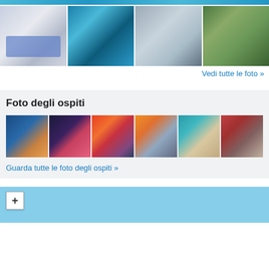[Figure (photo): Top banner strip with blue gradient]
[Figure (photo): Row of four hotel photos: bedroom, indoor pool, sea view window seat, coastal nature]
Vedi tutte le foto »
Foto degli ospiti
[Figure (photo): Row of six guest photos: beach evening, party group, sunset landscape, sunset over water, blonde woman portrait, hotel room]
Guarda tutte le foto degli ospiti »
[Figure (map): Map section with blue sky background and zoom plus button]